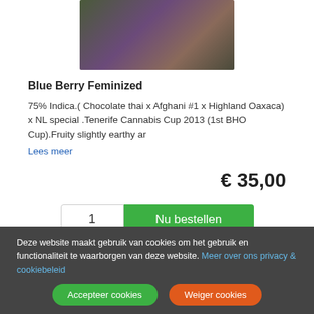[Figure (photo): Close-up photo of Blue Berry Feminized cannabis plant with dark purple and green leaves]
Blue Berry Feminized
75% Indica.( Chocolate thai x Afghani #1 x Highland Oaxaca) x NL special .Tenerife Cannabis Cup 2013 (1st BHO Cup).Fruity slightly earthy ar
Lees meer
€ 35,00
1  Nu bestellen
Deze website maakt gebruik van cookies om het gebruik en functionaliteit te waarborgen van deze website. Meer over ons privacy & cookiebeleid  Accepteer cookies  Weiger cookies